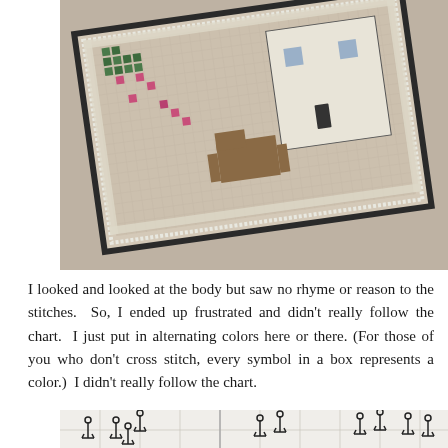[Figure (photo): A close-up photograph of a cross-stitch embroidery piece on tan/khaki linen fabric. The embroidery shows a house scene with trees, pink flowers, and a white building, worked in various colors on a diagonal angle. The border of the stitched piece has a dark decorative edge.]
I looked and looked at the body but saw no rhyme or reason to the stitches.  So, I ended up frustrated and didn't really follow the chart.  I just put in alternating colors here or there. (For those of you who don't cross stitch, every symbol in a box represents a color.)  I didn't really follow the chart.
[Figure (photo): A partially visible photograph of a cross-stitch chart on graph paper, showing black anchor-like symbols (representing a particular thread color) placed in grid squares.]